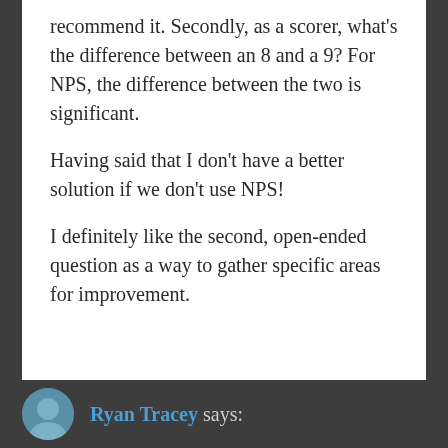recommend it. Secondly, as a scorer, what's the difference between an 8 and a 9? For NPS, the difference between the two is significant.
Having said that I don't have a better solution if we don't use NPS!
I definitely like the second, open-ended question as a way to gather specific areas for improvement.
Ryan Tracey says: